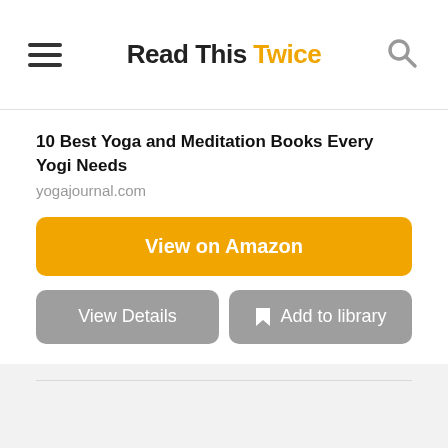Read This Twice
10 Best Yoga and Meditation Books Every Yogi Needs
yogajournal.com
View on Amazon
View Details
Add to library